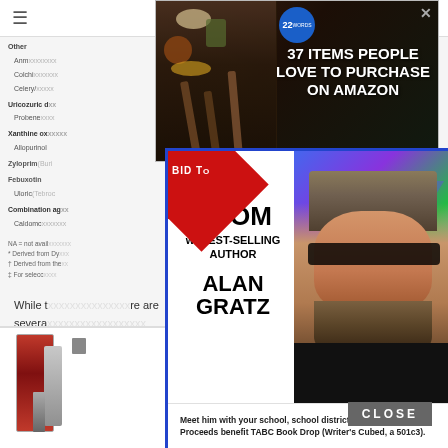[Figure (screenshot): Web page screenshot showing medical article with navigation bar, partial table of medications, body text about symptoms, and two advertisement overlays plus a popup modal for 'Zoom w/ Best-Selling Author Alan Gratz']
[Figure (infographic): Top advertisement banner: '37 ITEMS PEOPLE LOVE TO PURCHASE ON AMAZON' with 22 Words badge, close button X, dark background with food/kitchen items]
[Figure (infographic): Modal popup advertisement: 'BID T...' red corner badge. ZOOM w/ BEST-SELLING AUTHOR ALAN GRATZ. Photo of bearded man with hat and glasses against colorful geometric background. Text: 'Meet him with your school, school district, or writer's group! Proceeds benefit TABC Book Drop (Writer's Cubed, a 501c3).']
Its difficwhen youre extoms can last pain usually
While there are severa symptoms
[Figure (infographic): Bottom advertisement: '37 HOME AND KITCHEN ITEMS EVERYONE SHOULD OWN' with 22 Words badge, close button X, images of wine opener/bottle tools on left and yellow kitchen tools on right]